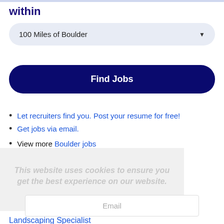within
100 Miles of Boulder
Find Jobs
Let recruiters find you. Post your resume for free!
Get jobs via email.
View more Boulder jobs
This website uses cookies to ensure you get the best experience on our website.
Learn more
Email
Other Jobs
Landscaping Specialist